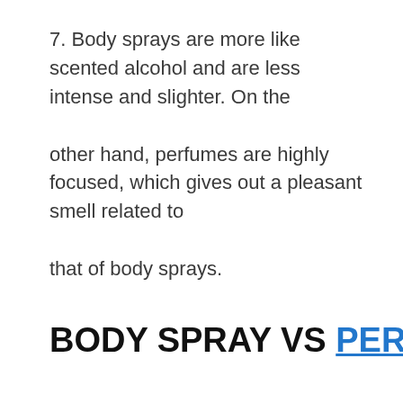7. Body sprays are more like scented alcohol and are less intense and slighter. On the other hand, perfumes are highly focused, which gives out a pleasant smell related to that of body sprays.
BODY SPRAY VS PERFUME